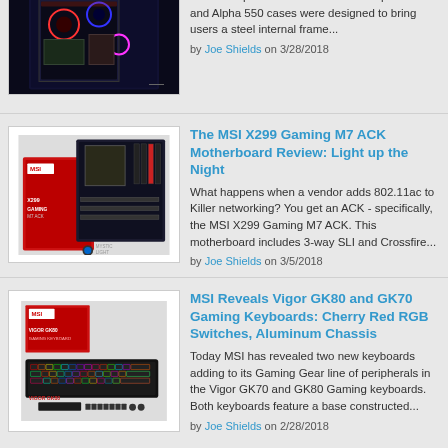[Figure (photo): PC case with RGB lighting, transparent side panel]
the new Alpha series of cases. The Alpha 330 and Alpha 550 cases were designed to bring users a steel internal frame...
by Joe Shields on 3/28/2018
[Figure (photo): MSI X299 Gaming M7 ACK motherboard with Mystic Light branding, red and black box packaging]
The MSI X299 Gaming M7 ACK Motherboard Review: Light up the Night
What happens when a vendor adds 802.11ac to Killer networking? You get an ACK - specifically, the MSI X299 Gaming M7 ACK. This motherboard includes 3-way SLI and Crossfire...
by Joe Shields on 3/5/2018
[Figure (photo): MSI Vigor GK80 and GK70 gaming keyboards with RGB lighting and box packaging]
MSI Reveals Vigor GK80 and GK70 Gaming Keyboards: Cherry Red RGB Switches, Aluminum Chassis
Today MSI has revealed two new keyboards adding to its Gaming Gear line of peripherals in the Vigor GK70 and GK80 Gaming keyboards. Both keyboards feature a base constructed...
by Joe Shields on 2/28/2018